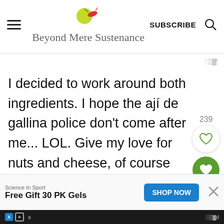Beyond Mere Sustenance — SUBSCRIBE
I decided to work around both ingredients. I hope the ají de gallina police don't come after me... LOL. Give my love for nuts and cheese, of course the pecans and parmesan remain.
What can we use instead? I have often
[Figure (other): Social share/like sidebar with heart icons showing counts 239 and 618, and a share button]
Science In Sport — Free Gift 30 PK Gels — SHOP NOW